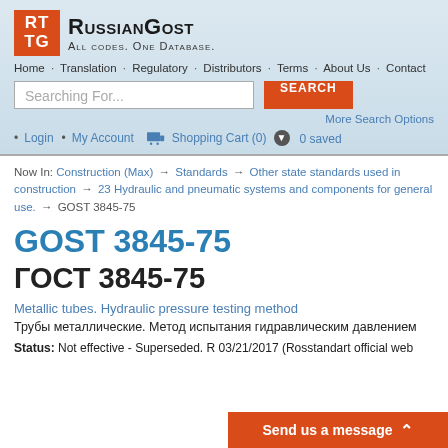[Figure (logo): RussianGost logo: orange square with RT/TG text, brand name RussianGost, tagline All codes. One Database.]
Home · Translation · Regulatory · Distributors · Terms · About Us · Contact
Searching For... [search input] SEARCH
More Search Options
• Login • My Account 🛒 Shopping Cart (0) ❤ 0 saved
Now In: Construction (Max) → Standards → Other state standards used in construction → 23 Hydraulic and pneumatic systems and components for general use. → GOST 3845-75
GOST 3845-75
ГОСТ 3845-75
Metallic tubes. Hydraulic pressure testing method
Трубы металлические. Метод испытания гидравлическим давлением
Status: Not effective - Superseded. Replaced By: ... 03/21/2017 (Rosstandart official web...